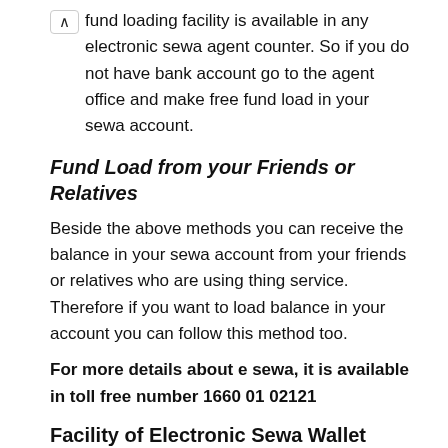fund loading facility is available in any electronic sewa agent counter. So if you do not have bank account go to the agent office and make free fund load in your sewa account.
Fund Load from your Friends or Relatives
Beside the above methods you can receive the balance in your sewa account from your friends or relatives who are using thing service. Therefore if you want to load balance in your account you can follow this method too.
For more details about e sewa, it is available in toll free number 1660 01 02121
Facility of Electronic Sewa Wallet
This online wallet sewa provides chance to make online payment in different sectors.